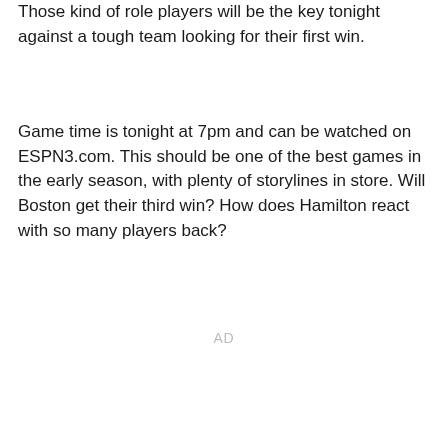Those kind of role players will be the key tonight against a tough team looking for their first win.
Game time is tonight at 7pm and can be watched on ESPN3.com. This should be one of the best games in the early season, with plenty of storylines in store. Will Boston get their third win? How does Hamilton react with so many players back?
AD